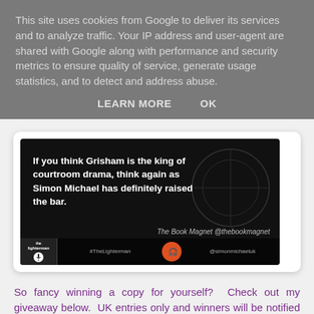This site uses cookies from Google to deliver its services and to analyze traffic. Your IP address and user-agent are shared with Google along with performance and security metrics to ensure quality of service, generate usage statistics, and to detect and address abuse.
LEARN MORE    OK
[Figure (screenshot): Promotional image for 'The Lighterman' book by Simon Michael with quote: 'If you think Grisham is the king of courtroom drama, think again as Simon Michael has definitely raised the bar.' attributed to The Book Magnet @thebookmagnet. Shows book cover, hashtag #TheLighterman, logo and @simonmichaeluk.]
So fancy winning a copy for yourself?  Check out my giveaway below.  UK entries only and winners will be notified by email within 24 hours.